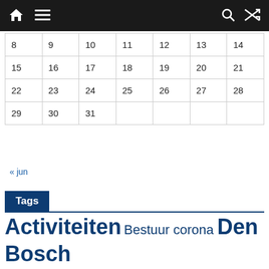Navigation bar with home, menu, search and shuffle icons
| 8 | 9 | 10 | 11 | 12 | 13 | 14 |
| 15 | 16 | 17 | 18 | 19 | 20 | 21 |
| 22 | 23 | 24 | 25 | 26 | 27 | 28 |
| 29 | 30 | 31 |  |  |  |  |
« jun
Tags
Activiteiten Bestuur corona Den Bosch Fundraising Groen Doen Hertogdag Persberichten Projecten Rotarians